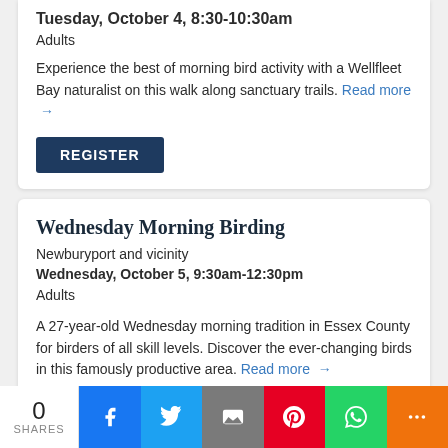Tuesday, October 4, 8:30-10:30am
Adults
Experience the best of morning bird activity with a Wellfleet Bay naturalist on this walk along sanctuary trails. Read more →
REGISTER
Wednesday Morning Birding
Newburyport and vicinity
Wednesday, October 5, 9:30am-12:30pm
Adults
A 27-year-old Wednesday morning tradition in Essex County for birders of all skill levels. Discover the ever-changing birds in this famously productive area. Read more →
0 SHARES | Facebook | Twitter | Email | Pinterest | WhatsApp | More